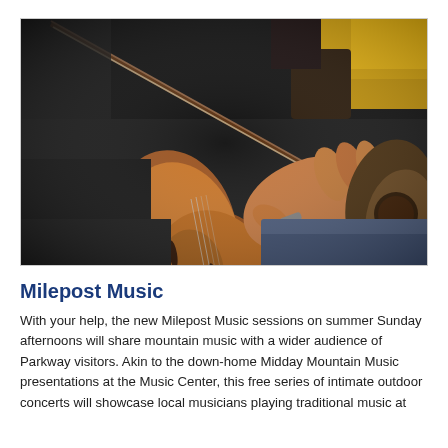[Figure (photo): Close-up photograph of a person playing a violin/fiddle with a guitar visible in the background. The musician's hands are shown gripping the bow and the neck/strings of the violin.]
Milepost Music
With your help, the new Milepost Music sessions on summer Sunday afternoons will share mountain music with a wider audience of Parkway visitors. Akin to the down-home Midday Mountain Music presentations at the Music Center, this free series of intimate outdoor concerts will showcase local musicians playing traditional music at